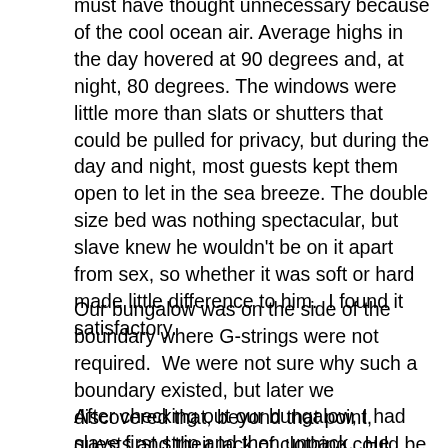must have thought unnecessary because of the cool ocean air. Average highs in the day hovered at 90 degrees and, at night, 80 degrees. The windows were little more than slats or shutters that could be pulled for privacy, but during the day and night, most guests kept them open to let in the sea breeze. The double size bed was nothing spectacular, but slave knew he wouldn't be on it apart from sex, so whether it was soft or hard made little difference to him.  I found it satisfactory.
Our bungalow was on the side of the boundary where G-strings were not required.  We were not sure why such a boundary existed, but later we discovered that, beyond that point, guests and their lack of clothing could be seen from the street, and the owners did not want any complaints from passers-by.
After checking out our bungalow, I had slave first strip and then unpack.  He didn't question why I packed so